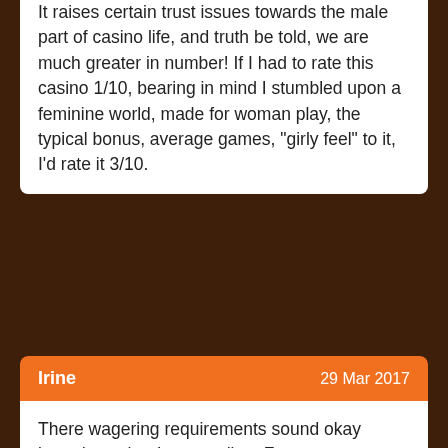It raises certain trust issues towards the male part of casino life, and truth be told, we are much greater in number! If I had to rate this casino 1/10, bearing in mind I stumbled upon a feminine world, made for woman play, the typical bonus, average games, "girly feel" to it, I'd rate it 3/10.
Irine
29 Mar 2017
There wagering requirements sound okay based on what I am reading. For every common rule in the casino some do not let you cash out prior to meeting the bonus requirements. As the terms and conditions were okay-sounding I decided to use it along with my $50 deposit. I claimed the 100% first deposit offer via live chat and they immediately credited my account with the bonus while leaving great customer support as the live operator left the conversation. Support is awesome, the bonuses were okay, alittle better than the standard 30x and withdrawals were